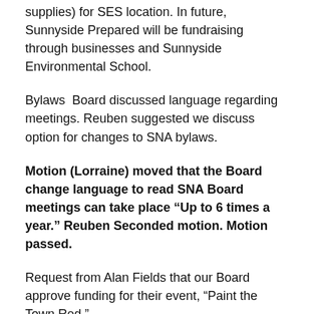supplies) for SES location. In future, Sunnyside Prepared will be fundraising through businesses and Sunnyside Environmental School.
Bylaws  Board discussed language regarding meetings. Reuben suggested we discuss option for changes to SNA bylaws.
Motion (Lorraine) moved that the Board change language to read SNA Board meetings can take place “Up to 6 times a year.” Reuben Seconded motion. Motion passed.
Request from Alan Fields that our Board approve funding for their event, “Paint the Town Red.”